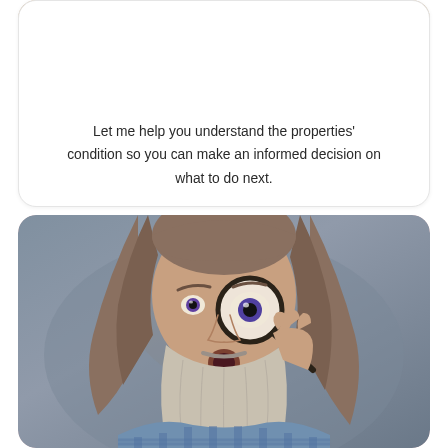[Figure (photo): Photo of a man in a beige polo shirt with a logo, cropped at chest level, top portion visible]
Let me help you understand the properties' condition so you can make an informed decision on what to do next.
[Figure (photo): Photo of an older man with long gray-brown hair and a long gray beard, holding a magnifying glass up to one eye with an exaggerated surprised expression, against a gray background]